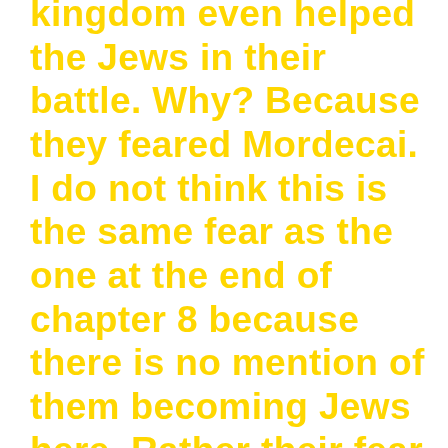kingdom even helped the Jews in their battle. Why? Because they feared Mordecai. I do not think this is the same fear as the one at the end of chapter 8 because there is no mention of them becoming Jews here. Rather their fear seems to have more to do with Mordecai's power in the palace